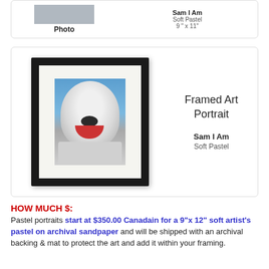[Figure (photo): Partial top card showing a photo thumbnail on the left labeled 'Photo' and on the right 'Sam I Am', 'Soft Pastel', '9" x 11"']
[Figure (photo): Card showing a framed pastel portrait of a white fluffy dog (Sam I Am) in a black frame with white mat, alongside text 'Framed Art Portrait', 'Sam I Am', 'Soft Pastel']
HOW MUCH $:
Pastel portraits start at $350.00 Canadain for a 9"x 12" soft artist's pastel on archival sandpaper and will be shipped with an archival backing & mat to protect the art and add it within your framing.